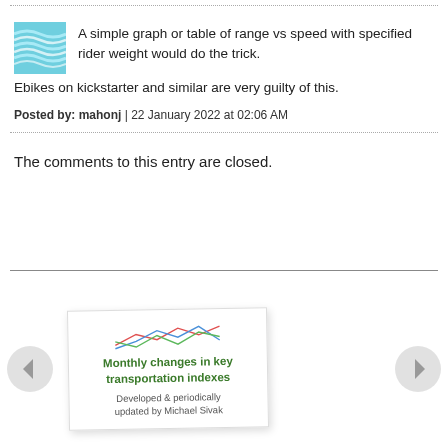A simple graph or table of range vs speed with specified rider weight would do the trick. Ebikes on kickstarter and similar are very guilty of this.
Posted by: mahonj | 22 January 2022 at 02:06 AM
The comments to this entry are closed.
[Figure (illustration): Thumbnail card image with title 'Monthly changes in key transportation indexes' and subtitle 'Developed & periodically updated by Michael Sivak' with decorative line chart lines in red, green, and blue]